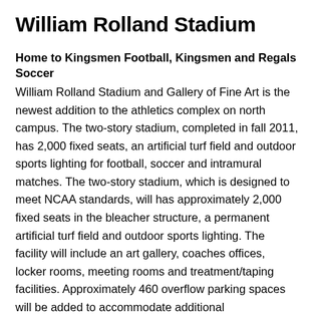William Rolland Stadium
Home to Kingsmen Football, Kingsmen and Regals Soccer
William Rolland Stadium and Gallery of Fine Art is the newest addition to the athletics complex on north campus. The two-story stadium, completed in fall 2011, has 2,000 fixed seats, an artificial turf field and outdoor sports lighting for football, soccer and intramural matches. The two-story stadium, which is designed to meet NCAA standards, will has approximately 2,000 fixed seats in the bleacher structure, a permanent artificial turf field and outdoor sports lighting. The facility will include an art gallery, coaches offices, locker rooms, meeting rooms and treatment/taping facilities. Approximately 460 overflow parking spaces will be added to accommodate additional